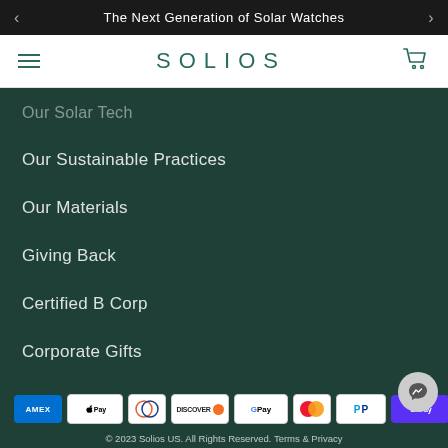The Next Generation of Solar Watches
SOLIOS
Our Solar Tech
Our Sustainable Practices
Our Materials
Giving Back
Certified B Corp
Corporate Gifts
[Figure (other): Payment method logos: AMEX, Apple Pay, Diners Club, Discover, Google Pay, Mastercard, PayPal, Shop Pay, Visa]
© 2023 Solios US. All Rights Reserved. Terms & Privacy